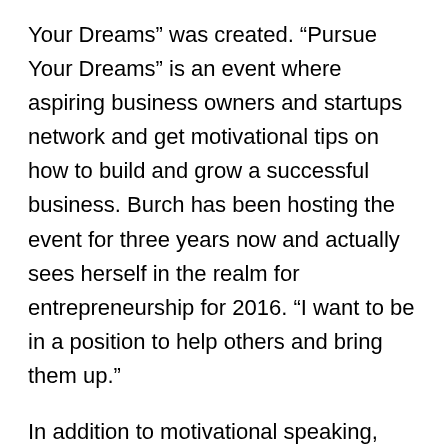Your Dreams” was created. “Pursue Your Dreams” is an event where aspiring business owners and startups network and get motivational tips on how to build and grow a successful business. Burch has been hosting the event for three years now and actually sees herself in the realm for entrepreneurship for 2016. “I want to be in a position to help others and bring them up.”
In addition to motivational speaking, Burch also is an event planner. She started in college by helping her friends and church with events. “It’s a fun thing to do” she says. Burch emcees events as well.
Gennice Burch is happily married with five step-children. She has a love for God and enjoys working out, reading, and family. She currently resides in Montgomery, AL. She admonishes us to always stay humble and to achieve our